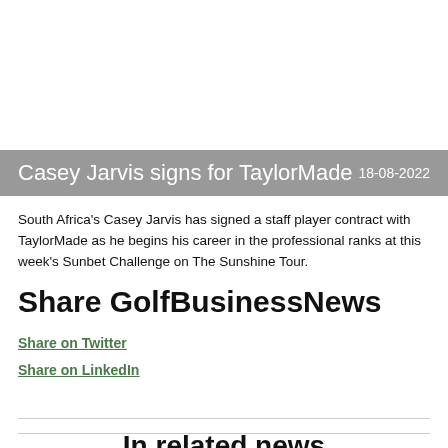Casey Jarvis signs for TaylorMade    18-08-2022
South Africa's Casey Jarvis has signed a staff player contract with TaylorMade as he begins his career in the professional ranks at this week's Sunbet Challenge on The Sunshine Tour.
Share GolfBusinessNews
Share on Twitter
Share on LinkedIn
In related news